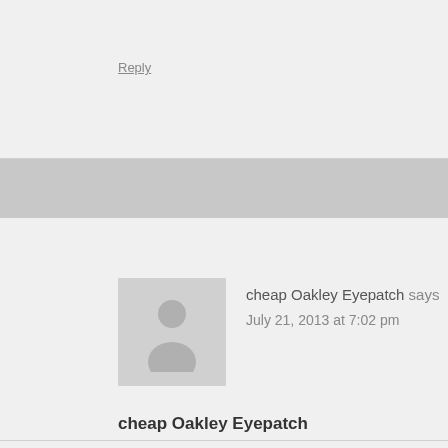Reply
cheap Oakley Eyepatch says
July 21, 2013 at 7:02 pm
cheap Oakley Eyepatch
I have read so many articles concerning the blogger lovers but this paragraph is in fact a pleasant piece of writing, keep it up.
Reply